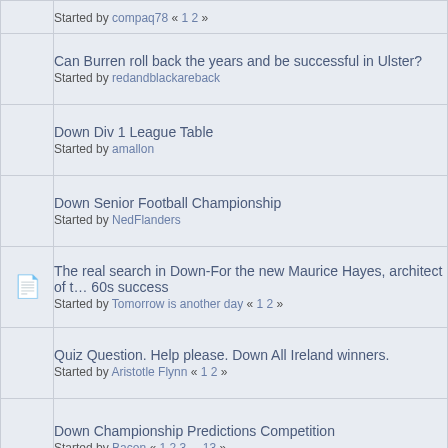Can Burren roll back the years and be successful in Ulster? Started by redandblackareback
Down Div 1 League Table Started by amallon
Down Senior Football Championship Started by NedFlanders
The real search in Down-For the new Maurice Hayes, architect of the 60s success Started by Tomorrow is another day « 1 2 »
Quiz Question. Help please. Down All Ireland winners. Started by Aristotle Flynn « 1 2 »
Down Championship Predictions Competition Started by Bacon « 1 2 3 ... 13 »
Pages: 1 2 [3]   Go Up
gaaboard.com » GAA Discussion » Local GAA Discussion » Down
Normal Topic    Locked Topic